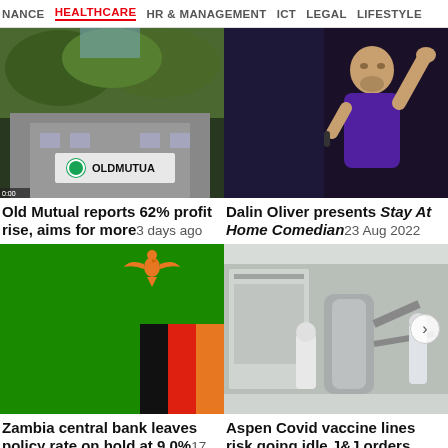NANCE  HEALTHCARE  HR & MANAGEMENT  ICT  LEGAL  LIFESTYLE
[Figure (photo): Old Mutual building exterior with trees and logo sign]
[Figure (photo): Dalin Oliver on stage presenting, holding microphone, wearing purple shirt]
Old Mutual reports 62% profit rise, aims for more 3 days ago
Dalin Oliver presents Stay At Home Comedian 23 Aug 2022
[Figure (illustration): Zambia flag - green background with red, black and orange vertical stripes and eagle]
[Figure (photo): Laboratory clean room with workers in protective gear and equipment]
Zambia central bank leaves policy rate on hold at 9.0% 17 Aug 2022
Aspen Covid vaccine lines risk going idle J&J orders dwindle...